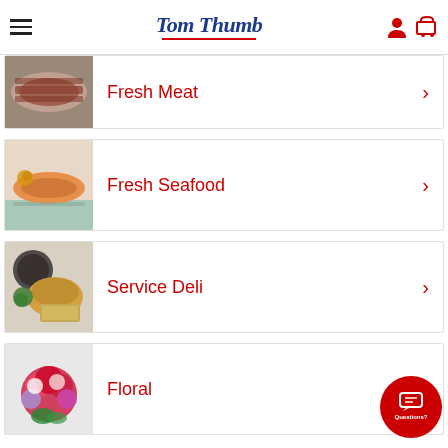Tom Thumb
Fresh Meat
Fresh Seafood
Service Deli
Floral